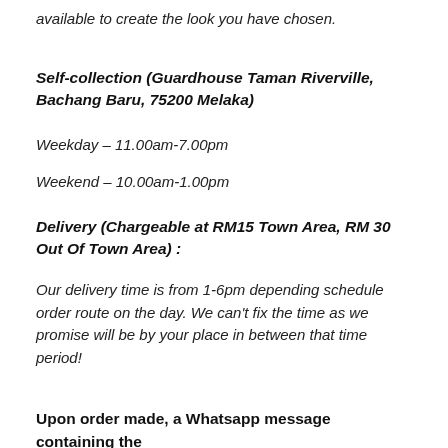available to create the look you have chosen.
Self-collection (Guardhouse Taman Riverville, Bachang Baru, 75200 Melaka)
Weekday – 11.00am-7.00pm
Weekend – 10.00am-1.00pm
Delivery (Chargeable at RM15 Town Area, RM 30 Out Of Town Area) :
Our delivery time is from 1-6pm depending schedule order route on the day. We can't fix the time as we promise will be by your place in between that time period!
Upon order made, a Whatsapp message containing the